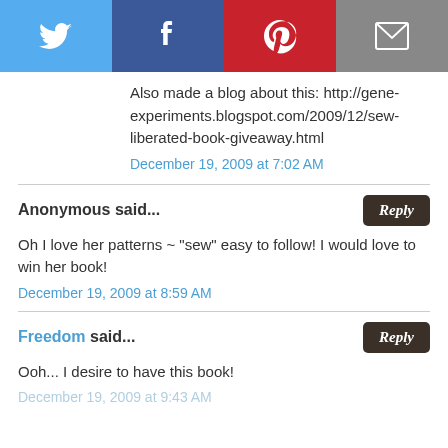[Figure (other): Social sharing bar with Twitter, Facebook, Pinterest, and email icons]
Also made a blog about this: http://gene-experiments.blogspot.com/2009/12/sew-liberated-book-giveaway.html
December 19, 2009 at 7:02 AM
Anonymous said...
Oh I love her patterns ~ "sew" easy to follow! I would love to win her book!
December 19, 2009 at 8:59 AM
Freedom said...
Ooh... I desire to have this book!
December 19, 2009 at 9:43 AM